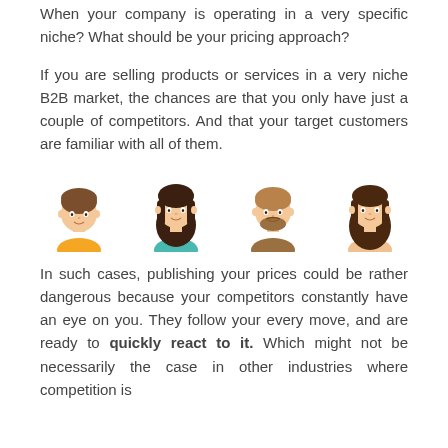When your company is operating in a very specific niche? What should be your pricing approach?
If you are selling products or services in a very niche B2B market, the chances are that you only have just a couple of competitors. And that your target customers are familiar with all of them.
[Figure (illustration): Four illustrated avatar portraits of people: a young man with orange shirt, a woman with dark hair and teal top, a man with light brown hair and beard, and a woman with long dark hair.]
In such cases, publishing your prices could be rather dangerous because your competitors constantly have an eye on you. They follow your every move, and are ready to quickly react to it. Which might not be necessarily the case in other industries where competition is